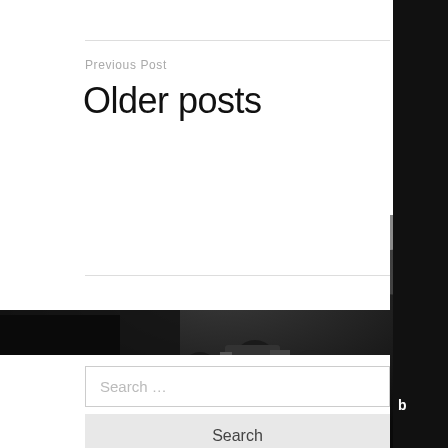Previous Post
Older posts
[Figure (photo): Black and white boxing event photo with crowd, cameras, and BOXING text overlay, UK flag visible]
Search ...
Search